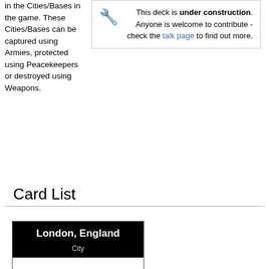in the Cities/Bases in the game. These Cities/Bases can be captured using Armies, protected using Peacekeepers or destroyed using Weapons.
This deck is under construction. Anyone is welcome to contribute - check the talk page to find out more.
Card List
[Figure (other): Card showing 'London, England' with subtitle 'City' on a black header background, white body area below.]